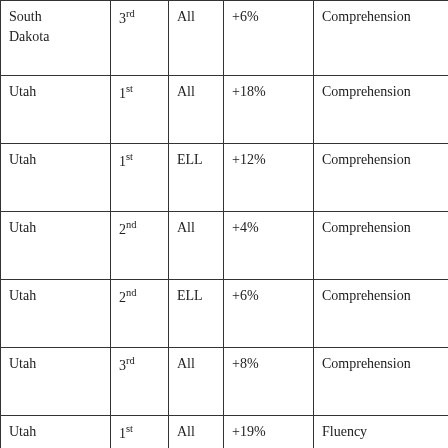| State | Grade | Population | Effect | Measure |
| --- | --- | --- | --- | --- |
| South Dakota | 3rd | All | +6% | Comprehension |
| Utah | 1st | All | +18% | Comprehension |
| Utah | 1st | ELL | +12% | Comprehension |
| Utah | 2nd | All | +4% | Comprehension |
| Utah | 2nd | ELL | +6% | Comprehension |
| Utah | 3rd | All | +8% | Comprehension |
| Utah | 1st | All | +19% | Fluency |
| Washington | 4th | All | +23% (*The entire state only gained 13% in same | Comprehension (WASL) |